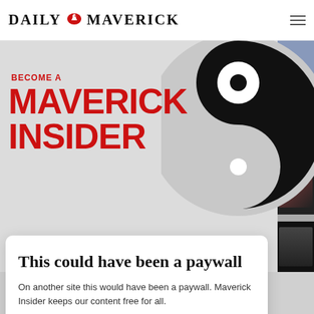DAILY MAVERICK
[Figure (illustration): Large black swirl/yin-yang style graphic on grey background with 'BECOME A MAVERICK INSIDER' text in red on the left]
This could have been a paywall
On another site this would have been a paywall. Maverick Insider keeps our content free for all.
Become an Insider